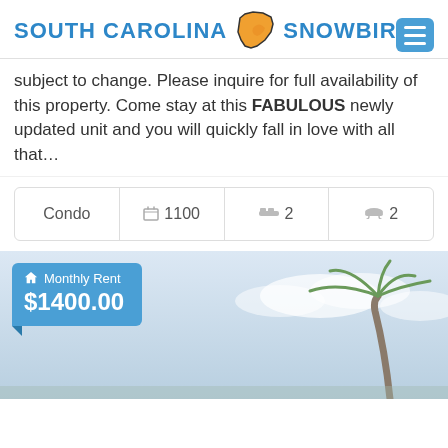[Figure (logo): South Carolina Snowbird logo with blue text and orange state outline icon]
subject to change. Please inquire for full availability of this property. Come stay at this FABULOUS newly updated unit and you will quickly fall in love with all that...
| Condo | 1100 | 2 | 2 |
Monthly Rent
$1400.00
[Figure (photo): Outdoor scene with palm trees against a light blue sky]